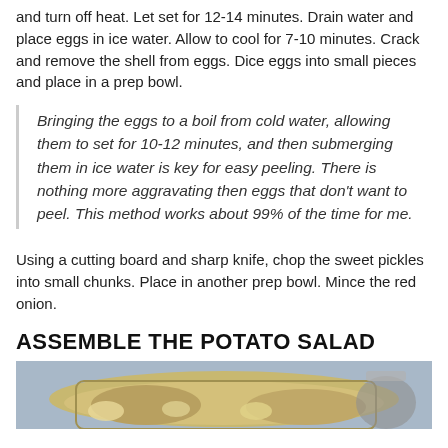and turn off heat. Let set for 12-14 minutes. Drain water and place eggs in ice water. Allow to cool for 7-10 minutes. Crack and remove the shell from eggs. Dice eggs into small pieces and place in a prep bowl.
Bringing the eggs to a boil from cold water, allowing them to set for 10-12 minutes, and then submerging them in ice water is key for easy peeling. There is nothing more aggravating then eggs that don’t want to peel. This method works about 99% of the time for me.
Using a cutting board and sharp knife, chop the sweet pickles into small chunks. Place in another prep bowl. Mince the red onion.
ASSEMBLE THE POTATO SALAD
[Figure (photo): Photo of chopped potatoes in a bowl, recipe preparation step]